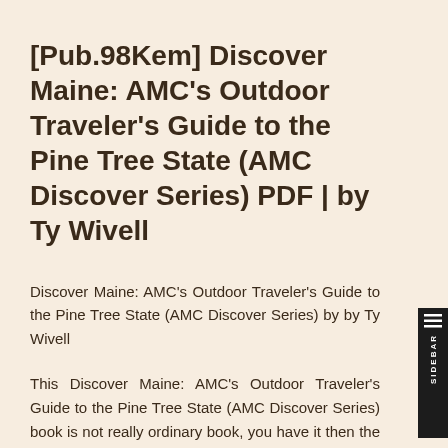[Pub.98Kem] Discover Maine: AMC's Outdoor Traveler's Guide to the Pine Tree State (AMC Discover Series) PDF | by Ty Wivell
Discover Maine: AMC's Outdoor Traveler's Guide to the Pine Tree State (AMC Discover Series) by by Ty Wivell
This Discover Maine: AMC's Outdoor Traveler's Guide to the Pine Tree State (AMC Discover Series) book is not really ordinary book, you have it then the world is in your hands. The benefit you get by reading this book is actually information inside this reserve incredible fresh, you will get